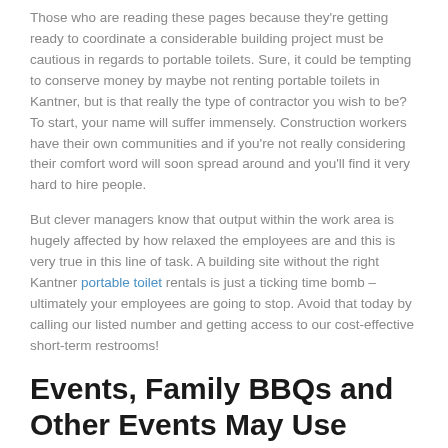Those who are reading these pages because they're getting ready to coordinate a considerable building project must be cautious in regards to portable toilets. Sure, it could be tempting to conserve money by maybe not renting portable toilets in Kantner, but is that really the type of contractor you wish to be? To start, your name will suffer immensely. Construction workers have their own communities and if you're not really considering their comfort word will soon spread around and you'll find it very hard to hire people.
But clever managers know that output within the work area is hugely affected by how relaxed the employees are and this is very true in this line of task. A building site without the right Kantner portable toilet rentals is just a ticking time bomb – ultimately your employees are going to stop. Avoid that today by calling our listed number and getting access to our cost-effective short-term restrooms!
Events, Family BBQs and Other Events May Use Temporary Restroom Rental in Kantner